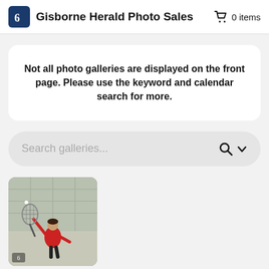Gisborne Herald Photo Sales   0 items
Not all photo galleries are displayed on the front page. Please use the keyword and calendar search for more.
[Figure (screenshot): Search bar with placeholder text 'Search galleries...' and search/chevron icons]
[Figure (photo): A badminton player in a red uniform jumping to hit a shuttlecock with a racket, inside an indoor sports hall]